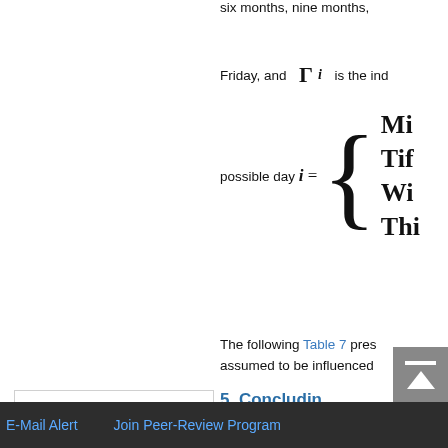six months, nine months,
Friday, and Γ_i is the ind
possible day i =
The following Table 7 pres assumed to be influenced
5. Concludin
We treat in this pa of the European C
Top
Abstract
Introduction
Methodological Aspects
Data Selection
Estimation
E-Mail Alert    Join Peer-Review Program